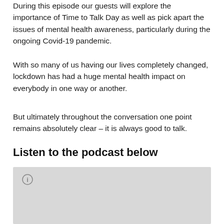During this episode our guests will explore the importance of Time to Talk Day as well as pick apart the issues of mental health awareness, particularly during the ongoing Covid-19 pandemic.
With so many of us having our lives completely changed, lockdown has had a huge mental health impact on everybody in one way or another.
But ultimately throughout the conversation one point remains absolutely clear – it is always good to talk.
Listen to the podcast below
[Figure (screenshot): Embedded podcast player with a light grey background and a small circular info icon in the upper left corner.]